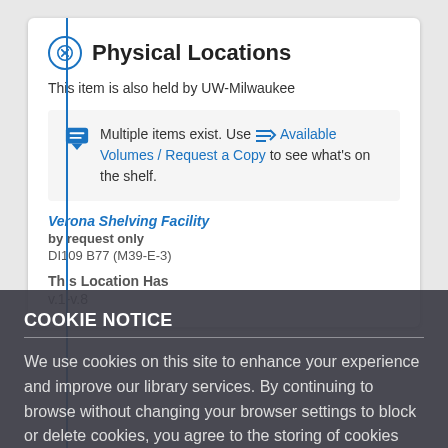Physical Locations
This item is also held by UW-Milwaukee
Multiple items exist. Use == Available Volumes / Request a Copy to see what's on the shelf.
Verona Shelving Facility
by request only
DI109 B77 (M39-E-3)
This Location Has
v.1-v.8
COOKIE NOTICE
We use cookies on this site to enhance your experience and improve our library services. By continuing to browse without changing your browser settings to block or delete cookies, you agree to the storing of cookies and related technologies on your device. UW–Madison Privacy Notice
GOT IT!